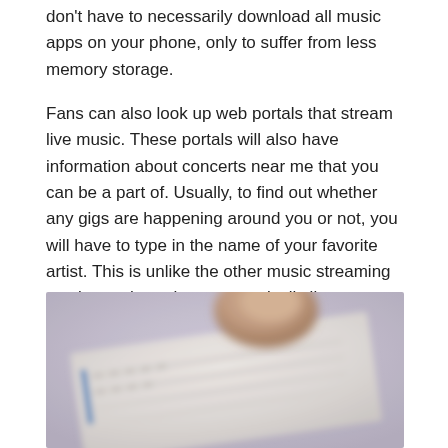don't have to necessarily download all music apps on your phone, only to suffer from less memory storage.
Fans can also look up web portals that stream live music. These portals will also have information about concerts near me that you can be a part of. Usually, to find out whether any gigs are happening around you or not, you will have to type in the name of your favorite artist. This is unlike the other music streaming services, where they automatically list out concerts based on the songs you play. Check out this website for more information.
[Figure (photo): A blurred close-up photo of a hand holding what appears to be a keyboard or remote control device, with a purple/grey background.]